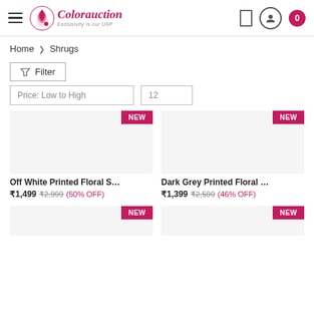Colorauction — Exclusivity is our USP
Home > Shrugs
Filter
Price: Low to High | 12
Off White Printed Floral S…  ₹1,499  ₹2,999  (50% OFF)
Dark Grey Printed Floral …  ₹1,399  ₹2,599  (46% OFF)